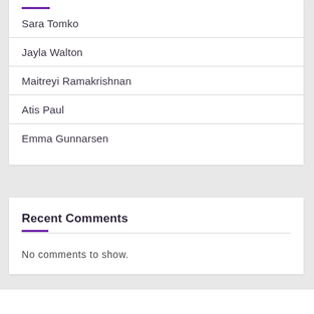Sara Tomko
Jayla Walton
Maitreyi Ramakrishnan
Atis Paul
Emma Gunnarsen
Recent Comments
No comments to show.
Andie MacDowell